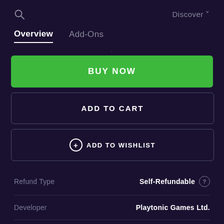🔍  Discover ˅
Overview  Add-Ons
·
BUY NOW
ADD TO CART
+ ADD TO WISHLIST
|  |  |
| --- | --- |
| Refund Type | Self-Refundable ? |
| Developer | Playtonic Games Ltd. |
| Publisher | Team17 Digital Ltd |